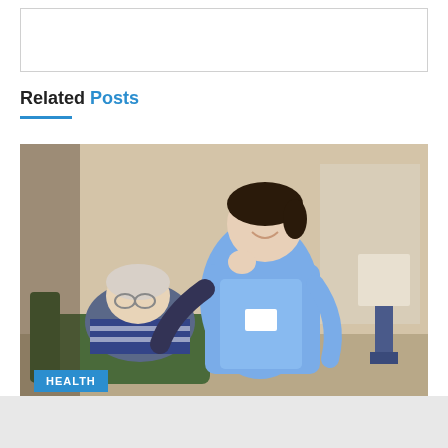[Figure (other): Empty bordered box at top of page]
Related Posts
[Figure (photo): A nurse in blue uniform smiling and interacting with an elderly patient seated on a green chair, with a lamp visible in the background. A cyan 'HEALTH' badge overlays the bottom-left of the image.]
Government proposals for residential care will increase worker exploitation and encourage